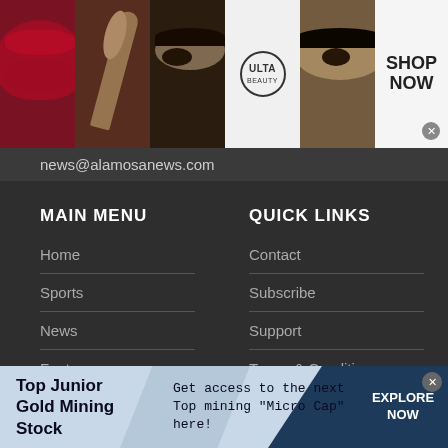[Figure (screenshot): Top banner advertisement showing makeup/beauty images and ULTA Beauty logo with SHOP NOW button]
news@alamosanews.com
MAIN MENU
QUICK LINKS
Home
Contact
Sports
Subscribe
News
Support
Features
Terms & Conditions
Police Reports
Privacy Policy
Community
Login
[Figure (screenshot): Bottom banner ad: Top Junior Gold Mining Stock — Get access to the next Top mining "Micro Cap" here! EXPLORE NOW]